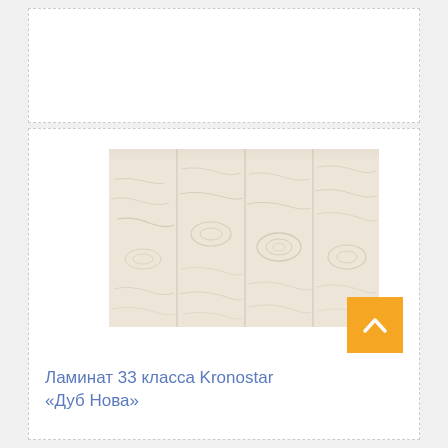[Figure (photo): Light oak/wood laminate texture product photo, pale beige/white wood grain pattern with vertical planks]
Ламинат 33 класса Kronostar «Дуб Нова»
Розничная цена
1 028 ₽/м²